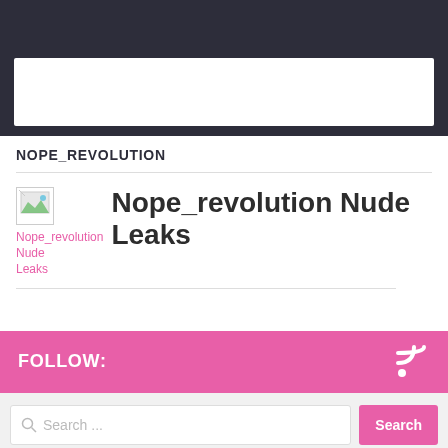NOPE_REVOLUTION
[Figure (illustration): Broken image thumbnail placeholder with a small landscape icon]
Nope_revolution Nude Leaks
FOLLOW:
Search ...